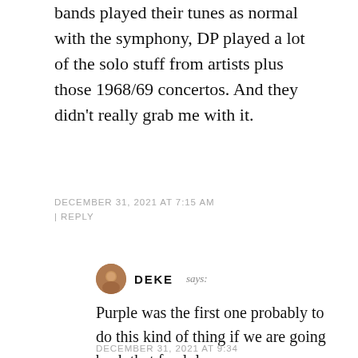bands played their tunes as normal with the symphony, DP played a lot of the solo stuff from artists plus those 1968/69 concertos. And they didn't really grab me with it.
DECEMBER 31, 2021 AT 7:15 AM | REPLY
DEKE says: Purple was the first one probably to do this kind of thing if we are going back that far. lol crazy
DECEMBER 31, 2021 AT 9:34